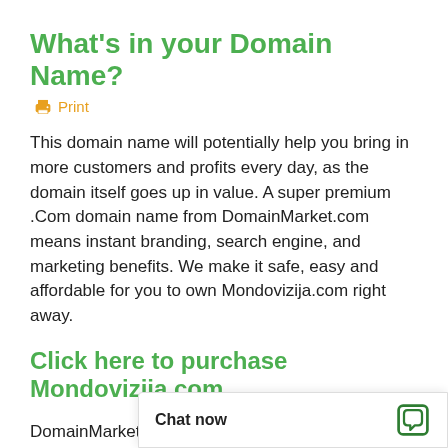What's in your Domain Name?
🖨 Print
This domain name will potentially help you bring in more customers and profits every day, as the domain itself goes up in value. A super premium .Com domain name from DomainMarket.com means instant branding, search engine, and marketing benefits. We make it safe, easy and affordable for you to own Mondovizija.com right away.
Click here to purchase Mondovizija.com
DomainMarket.com domains are carefully selected for branding excellence by seasoned domain name appraisers, so y